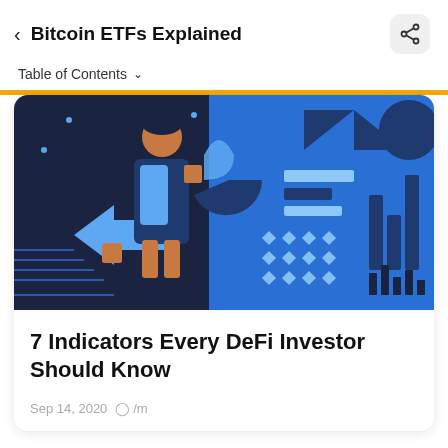Bitcoin ETFs Explained
Table of Contents
[Figure (illustration): A colorful digital illustration showing a stylized person with DeFi/financial icons including arrows, charts, bar graphs, diamonds, and geometric patterns in shades of blue, dark navy, and orange on a dark background.]
7 Indicators Every DeFi Investor Should Know
Sep 14, 2020  · /m